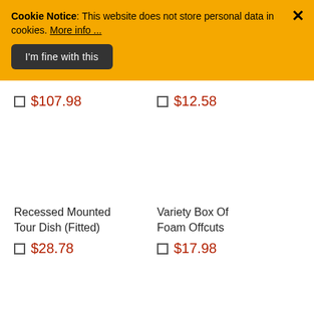Cookie Notice: This website does not store personal data in cookies. More info ...
I'm fine with this
$107.98
$12.58
Recessed Mounted Tour Dish (Fitted)
Variety Box Of Foam Offcuts
$28.78
$17.98